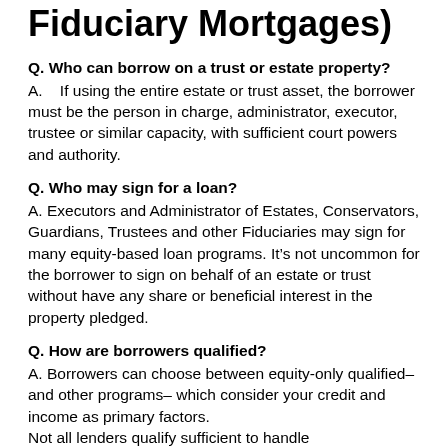Fiduciary Mortgages)
Q. Who can borrow on a trust or estate property?
A.    If using the entire estate or trust asset, the borrower must be the person in charge, administrator, executor, trustee or similar capacity, with sufficient court powers and authority.
Q. Who may sign for a loan?
A. Executors and Administrator of Estates, Conservators, Guardians, Trustees and other Fiduciaries may sign for many equity-based loan programs. It’s not uncommon for the borrower to sign on behalf of an estate or trust without have any share or beneficial interest in the property pledged.
Q. How are borrowers qualified?
A. Borrowers can choose between equity-only qualified–and other programs– which consider your credit and income as primary factors. Not all lenders qualify sufficient to handle...